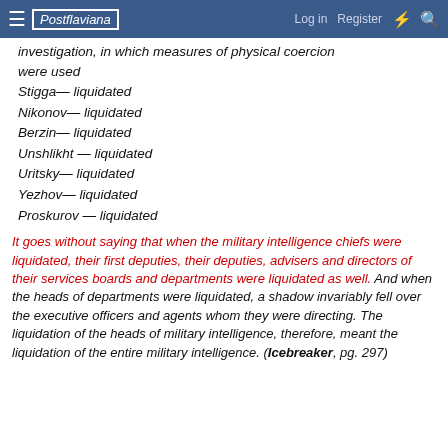Postflaviana  Log in  Register
investigation, in which measures of physical coercion were used
Stigga— liquidated
Nikonov— liquidated
Berzin— liquidated
Unshlikht — liquidated
Uritsky— liquidated
Yezhov— liquidated
Proskurov — liquidated
It goes without saying that when the military intelligence chiefs were liquidated, their first deputies, their deputies, advisers and directors of their services boards and departments were liquidated as well. And when the heads of departments were liquidated, a shadow invariably fell over the executive officers and agents whom they were directing. The liquidation of the heads of military intelligence, therefore, meant the liquidation of the entire military intelligence. (Icebreaker, pg. 297)